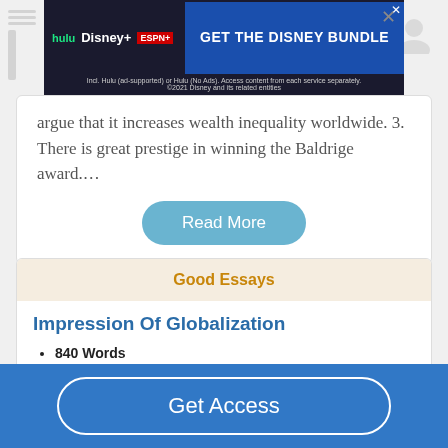[Figure (screenshot): Advertisement banner for Disney Bundle (Hulu, Disney+, ESPN+) with blue background and 'GET THE DISNEY BUNDLE' call-to-action button]
argue that it increases wealth inequality worldwide. 3. There is great prestige in winning the Baldrige award....
Read More
Good Essays
Impression Of Globalization
840 Words
4 Pages
The growth and prosperity gained from globalization yields
Get Access